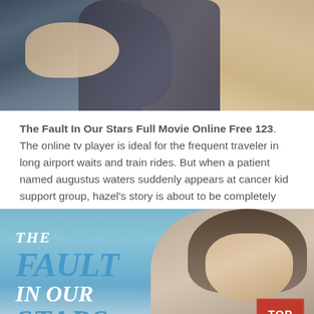[Figure (photo): Close-up photo of two people hugging, showing jeans fabric and gray shirt, with partial view of a hand]
The Fault In Our Stars Full Movie Online Free 123. The online tv player is ideal for the frequent traveler in long airport waits and train rides. But when a patient named augustus waters suddenly appears at cancer kid support group, hazel's story is about to be completely rewritten.
[Figure (photo): Movie poster for The Fault In Our Stars showing the title text in blue/white stylized lettering on a sky background, with a young man's face in profile on the right side, and a red TOP button overlay in the lower right corner]